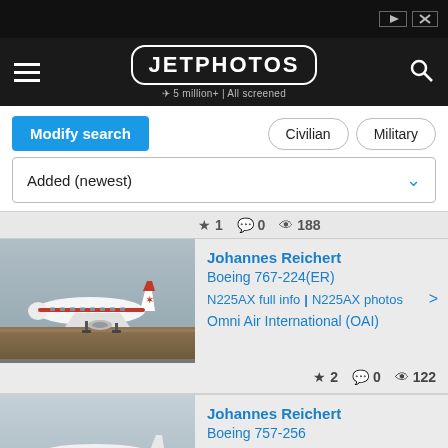[Figure (screenshot): JetPhotos website screenshot showing search results for airplane photos. Contains navigation bar with JETPHOTOS logo, Modify search button, Civilian/Military filter buttons, Added (newest) dropdown, and two photo listings: Johannes Reichert / Boeing 767-224(ER) / N225AX / Omni Air International (OAI) with stats 2 favorites 0 comments 122 views; and Johannes Reichert / Boeing 757-256 / EC-HDS / Privilege Style.]